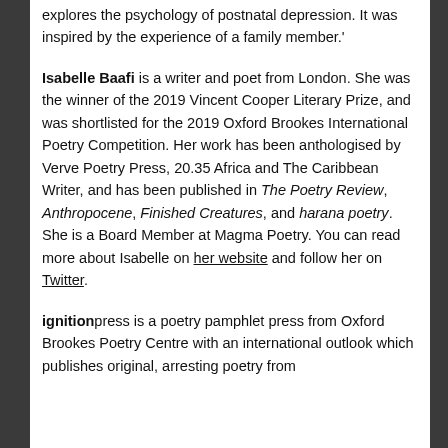explores the psychology of postnatal depression. It was inspired by the experience of a family member.'
Isabelle Baafi is a writer and poet from London. She was the winner of the 2019 Vincent Cooper Literary Prize, and was shortlisted for the 2019 Oxford Brookes International Poetry Competition. Her work has been anthologised by Verve Poetry Press, 20.35 Africa and The Caribbean Writer, and has been published in The Poetry Review, Anthropocene, Finished Creatures, and harana poetry. She is a Board Member at Magma Poetry. You can read more about Isabelle on her website and follow her on Twitter.
ignitionpress is a poetry pamphlet press from Oxford Brookes Poetry Centre with an international outlook which publishes original, arresting poetry from